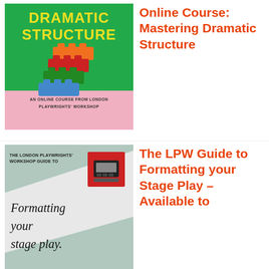[Figure (illustration): Book cover for 'Mastering Dramatic Structure' online course from London Playwrights' Workshop. Green background with yellow bold title text, colourful LEGO bricks stacked, pink bottom section with course subtitle.]
Online Course: Mastering Dramatic Structure
[Figure (illustration): Book cover for 'The LPW Guide to Formatting your Stage Play'. Teal/grey background with white diagonal stripe, black typewriter text title, red square with typewriter icon in top right corner.]
The LPW Guide to Formatting your Stage Play – Available to